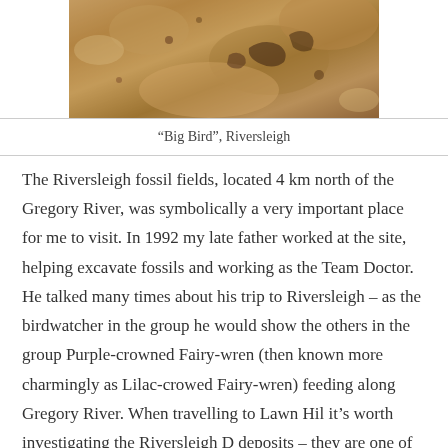[Figure (photo): Close-up photograph of rock/fossil surface at Riversleigh, showing sandy/ochre-colored stone with dark markings and embedded fossil material]
“Big Bird”, Riversleigh
The Riversleigh fossil fields, located 4 km north of the Gregory River, was symbolically a very important place for me to visit. In 1992 my late father worked at the site, helping excavate fossils and working as the Team Doctor. He talked many times about his trip to Riversleigh – as the birdwatcher in the group he would show the others in the group Purple-crowned Fairy-wren (then known more charmingly as Lilac-crowed Fairy-wren) feeding along Gregory River. When travelling to Lawn Hil it’s worth investigating the Riversleigh D deposits – they are one of the most